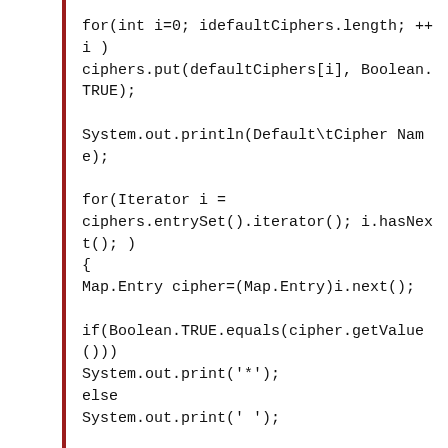for(int i=0; idefaultCiphers.length; ++i )
ciphers.put(defaultCiphers[i], Boolean.TRUE);

System.out.println(Default\tCipher Name);

for(Iterator i =
ciphers.entrySet().iterator(); i.hasNext(); )
{
Map.Entry cipher=(Map.Entry)i.next();

if(Boolean.TRUE.equals(cipher.getValue()))
System.out.print('*');
else
System.out.print(' ');

System.out.print('\t');
System.out.println(cipher.getKey());
}
}
}
-BEGIN PGP SIGNATURE-
Version: GnuPG v1.4.10 (MingW32)